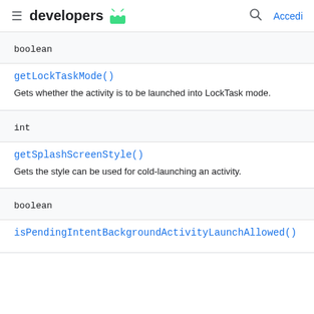developers  Accedi
boolean
getLockTaskMode()
Gets whether the activity is to be launched into LockTask mode.
int
getSplashScreenStyle()
Gets the style can be used for cold-launching an activity.
boolean
isPendingIntentBackgroundActivityLaunchAllowed()